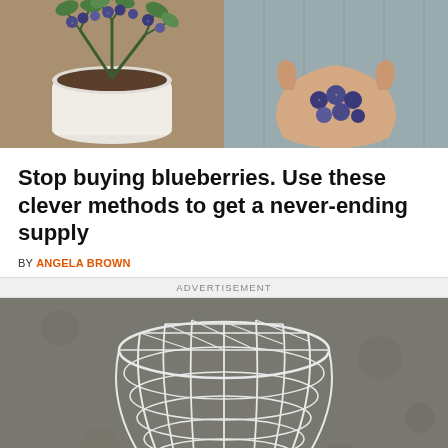[Figure (photo): Left: blueberry plant in white pot with ripe blueberries. Right: hands cupping blueberries.]
Stop buying blueberries. Use these clever methods to get a never-ending supply
BY ANGELA BROWN
ADVERTISEMENT
[Figure (photo): White wire mesh basket on a grey concrete surface — an advertisement image.]